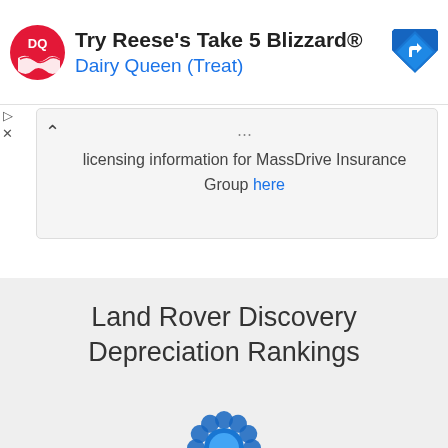[Figure (screenshot): Dairy Queen advertisement banner with DQ logo, text 'Try Reese's Take 5 Blizzard® Dairy Queen (Treat)', and a blue navigation/turn arrow icon on the right. Small play and close controls on the left edge.]
licensing information for MassDrive Insurance Group here
Land Rover Discovery Depreciation Rankings
[Figure (illustration): Partial blue ribbon/rosette badge graphic at bottom of page]